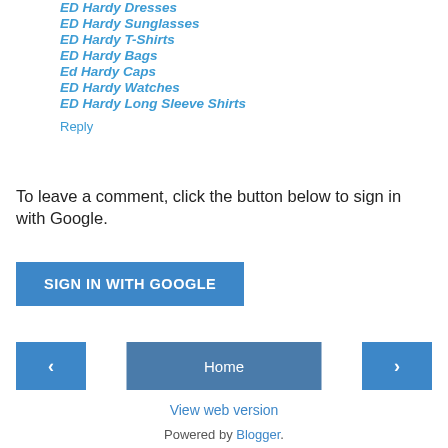ED Hardy Dresses
ED Hardy Sunglasses
ED Hardy T-Shirts
ED Hardy Bags
Ed Hardy Caps
ED Hardy Watches
ED Hardy Long Sleeve Shirts
Reply
To leave a comment, click the button below to sign in with Google.
SIGN IN WITH GOOGLE
Home
View web version
Powered by Blogger.